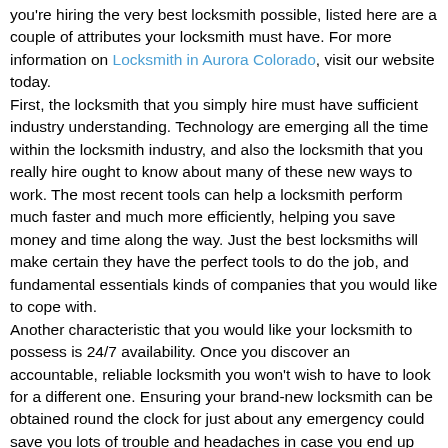you're hiring the very best locksmith possible, listed here are a couple of attributes your locksmith must have. For more information on Locksmith in Aurora Colorado, visit our website today. First, the locksmith that you simply hire must have sufficient industry understanding. Technology are emerging all the time within the locksmith industry, and also the locksmith that you really hire ought to know about many of these new ways to work. The most recent tools can help a locksmith perform much faster and much more efficiently, helping you save money and time along the way. Just the best locksmiths will make certain they have the perfect tools to do the job, and fundamental essentials kinds of companies that you would like to cope with. Another characteristic that you would like your locksmith to possess is 24/7 availability. Once you discover an accountable, reliable locksmith you won't wish to have to look for a different one. Ensuring your brand-new locksmith can be obtained round the clock for just about any emergency could save you lots of trouble and headaches in case you end up looking for a locksmith throughout the midnight. Getting that security blanket understanding that your locksmith is definitely available is additionally